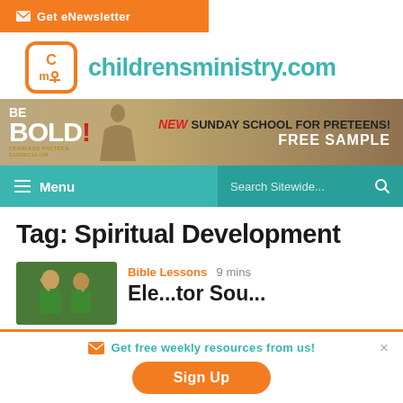Get eNewsletter
[Figure (logo): childrensministry.com logo with orange CM icon and teal text]
[Figure (infographic): Ad banner: BE BOLD - NEW SUNDAY SCHOOL FOR PRETEENS! FREE SAMPLE]
Menu | Search Sitewide...
Tag: Spiritual Development
[Figure (photo): Photo of children in green shirts, partial view]
Bible Lessons  9 mins
Get free weekly resources from us!
Sign Up